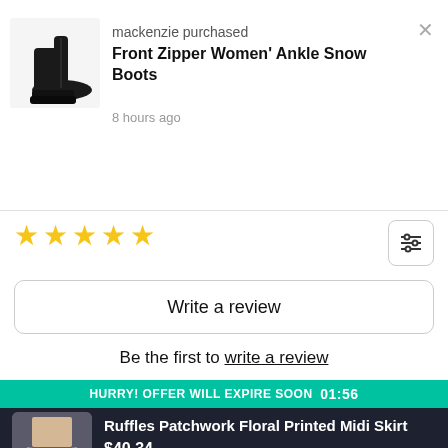[Figure (photo): Black front zipper ankle snow boot thumbnail image]
mackenzie purchased
Front Zipper Women' Ankle Snow Boots
8 hours ago
[Figure (other): Five empty star rating icons]
[Figure (other): Filter/settings sliders icon button]
Write a review
Be the first to write a review
HURRY! OFFER WILL EXPIRE SOON  01:56
[Figure (photo): Ruffles Patchwork Floral Printed Midi Skirt product thumbnail]
Ruffles Patchwork Floral Printed Midi Skirt
$40.34
24
Buy Now